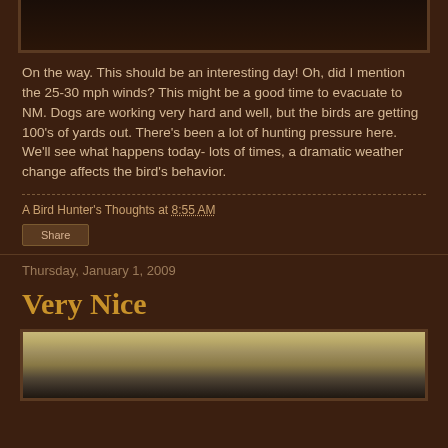[Figure (photo): Top portion of a photo, dark/brown tones, partially cropped at top of page]
On the way. This should be an interesting day! Oh, did I mention the 25-30 mph winds? This might be a good time to evacuate to NM. Dogs are working very hard and well, but the birds are getting 100's of yards out. There's been a lot of hunting pressure here. We'll see what happens today- lots of times, a dramatic weather change affects the bird's behavior.
A Bird Hunter's Thoughts at 8:55 AM
Share
Thursday, January 1, 2009
Very Nice
[Figure (photo): Bottom portion of a photo showing sandy/rocky outdoor terrain, bird hunting related]